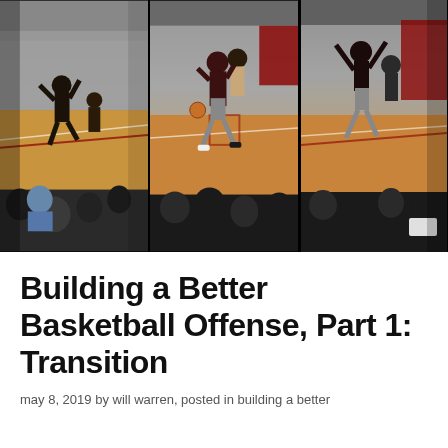[Figure (photo): Three-panel photo strip showing basketball players in action during a game in a gymnasium. Left panel shows a player leaping or falling near the sideline with spectators in background. Center panel shows a player driving to the basket being defended. Right panel shows another basketball action sequence. Court has red and tan coloring, spectators visible in foreground.]
Building a Better Basketball Offense, Part 1: Transition
may 8, 2019 by will warren, posted in building a better